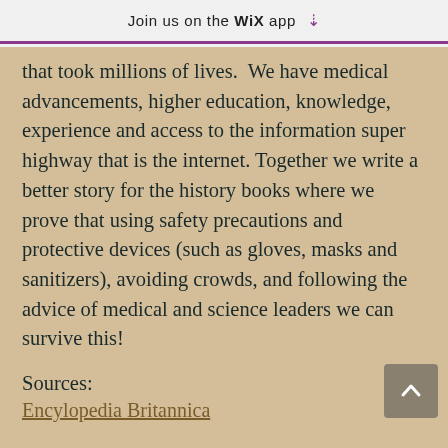Join us on the WiX app ↓
that took millions of lives. We have medical advancements, higher education, knowledge, experience and access to the information super highway that is the internet. Together we write a better story for the history books where we prove that using safety precautions and protective devices (such as gloves, masks and sanitizers), avoiding crowds, and following the advice of medical and science leaders we can survive this!
Sources:
Encylopedia Britannica